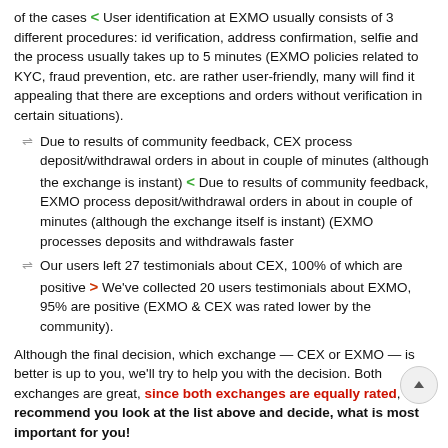of the cases < User identification at EXMO usually consists of 3 different procedures: id verification, address confirmation, selfie and the process usually takes up to 5 minutes (EXMO policies related to KYC, fraud prevention, etc. are rather user-friendly, many will find it appealing that there are exceptions and orders without verification in certain situations).
Due to results of community feedback, CEX process deposit/withdrawal orders in about in couple of minutes (although the exchange is instant) < Due to results of community feedback, EXMO process deposit/withdrawal orders in about in couple of minutes (although the exchange itself is instant) (EXMO processes deposits and withdrawals faster
Our users left 27 testimonials about CEX, 100% of which are positive > We've collected 20 users testimonials about EXMO, 95% are positive (EXMO & CEX was rated lower by the community).
Although the final decision, which exchange — CEX or EXMO — is better is up to you, we'll try to help you with the decision. Both exchanges are great, since both exchanges are equally rated, we recommend you look at the list above and decide, what is most important for you!
try CEX